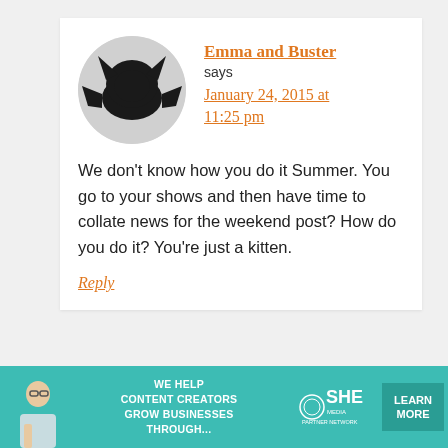[Figure (illustration): Circular avatar with grey background showing a black silhouette of a cat/monster face]
Emma and Buster
says
January 24, 2015 at 11:25 pm
We don't know how you do it Summer. You go to your shows and then have time to collate news for the weekend post? How do you do it? You're just a kitten.
Reply
[Figure (infographic): Teal advertisement banner: WE HELP CONTENT CREATORS GROW BUSINESSES THROUGH... SHE PARTNER NETWORK BECOME A MEMBER, LEARN MORE button]